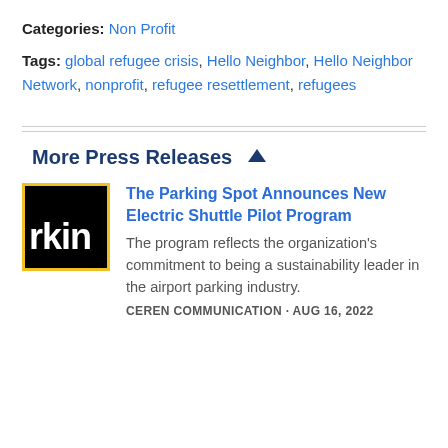Categories: Non Profit
Tags: global refugee crisis, Hello Neighbor, Hello Neighbor Network, nonprofit, refugee resettlement, refugees
More Press Releases
[Figure (logo): The Parking Spot logo: black background with yellow border, white bold text 'rkin']
The Parking Spot Announces New Electric Shuttle Pilot Program
The program reflects the organization's commitment to being a sustainability leader in the airport parking industry.
CEREN COMMUNICATION · AUG 16, 2022